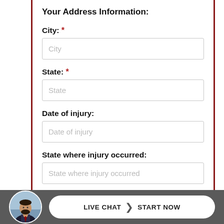Your Address Information:
City: *
City (placeholder)
State: *
State (placeholder)
Date of injury:
Date of injury (placeholder)
State where injury occurred:
State where injury occurred (placeholder)
[Figure (photo): Circular avatar photo of a man with a beard wearing a suit, used for live chat widget]
LIVE CHAT  START NOW